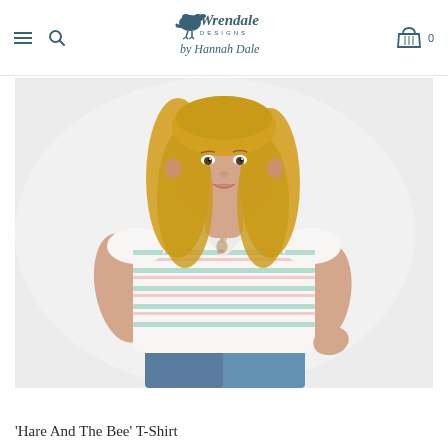Wrendale Designs by Hannah Dale — navigation header with hamburger menu, search, logo, and basket (0)
[Figure (photo): A young blonde woman wearing a white short-sleeve V-neck T-shirt with pastel horizontal stripes (mint green and pink) and a small illustrated hare graphic on the chest, paired with blue jeans, posed against a light grey-white background.]
'Hare And The Bee' T-Shirt